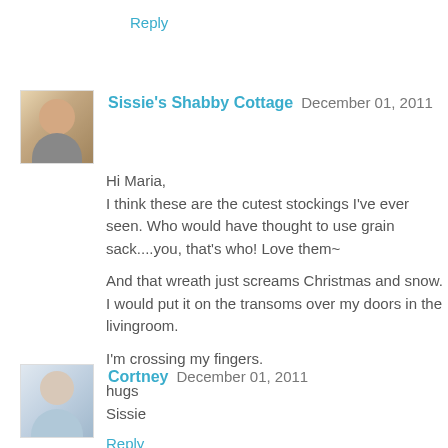Reply
Sissie's Shabby Cottage  December 01, 2011
Hi Maria,
I think these are the cutest stockings I've ever seen. Who would have thought to use grain sack....you, that's who! Love them~

And that wreath just screams Christmas and snow. I would put it on the transoms over my doors in the livingroom.

I'm crossing my fingers.

hugs
Sissie
Reply
Cortney  December 01, 2011